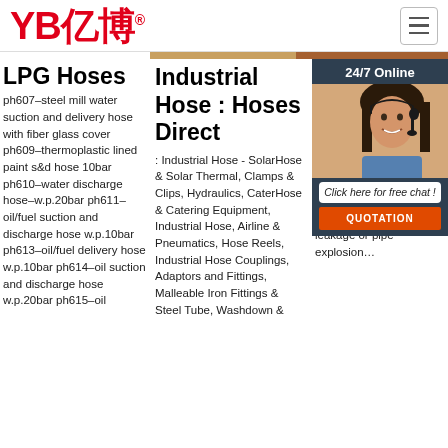YB亿博® [logo] with hamburger menu
LPG Hoses
ph607–steel mill water suction and delivery hose with fiber glass cover ph609–thermoplastic lined paint s&d hose 10bar ph610–water discharge hose–w.p.20bar ph611–oil/fuel suction and discharge hose w.p.10bar ph613–oil/fuel delivery hose w.p.10bar ph614–oil suction and discharge hose w.p.20bar ph615–oil
Industrial Hose : Hoses Direct
: Industrial Hose - SolarHose & Solar Thermal, Clamps & Clips, Hydraulics, CaterHose & Catering Equipment, Industrial Hose, Airline & Pneumatics, Hose Reels, Industrial Hose Couplings, Adaptors and Fittings, Malleable Iron Fittings & Steel Tube, Washdown &
Wh Ca Hy Su ... · Ru
If th ope the hug will produce instantaneous impact pressure in the hydraulic system, which will lead to premature failure of oil leakage or pipe explosion…
[Figure (photo): Customer service representative with headset, smiling, with 24/7 Online chat panel overlay including 'Click here for free chat!' bubble and QUOTATION button]